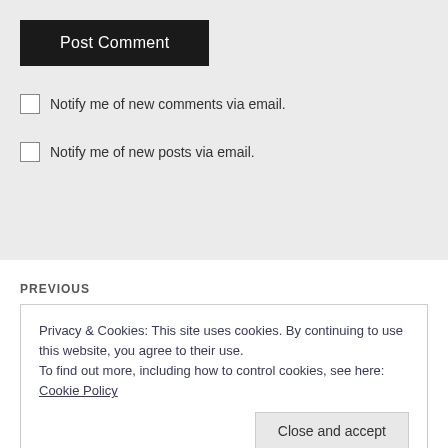[Figure (screenshot): Post Comment button — dark background with white text]
Notify me of new comments via email.
Notify me of new posts via email.
PREVIOUS
Privacy & Cookies: This site uses cookies. By continuing to use this website, you agree to their use.
To find out more, including how to control cookies, see here: Cookie Policy
Close and accept